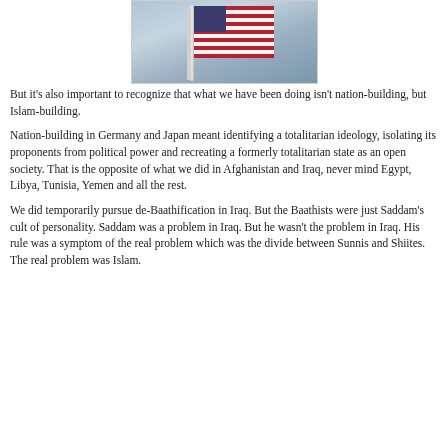[Figure (photo): Photograph of an American flag on a flagpole against a cloudy sky]
But it's also important to recognize that what we have been doing isn't nation-building, but Islam-building.
Nation-building in Germany and Japan meant identifying a totalitarian ideology, isolating its proponents from political power and recreating a formerly totalitarian state as an open society. That is the opposite of what we did in Afghanistan and Iraq, never mind Egypt, Libya, Tunisia, Yemen and all the rest.
We did temporarily pursue de-Baathification in Iraq. But the Baathists were just Saddam's cult of personality. Saddam was a problem in Iraq. But he wasn't the problem in Iraq. His rule was a symptom of the real problem which was the divide between Sunnis and Shiites. The real problem was Islam.